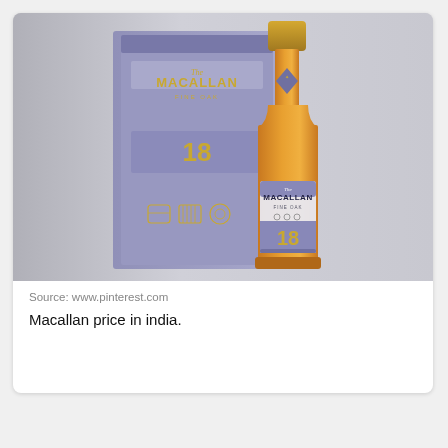[Figure (photo): The Macallan Fine Oak 18 Year Old whisky bottle next to its blue-purple box packaging, photographed against a light grey gradient background.]
Source: www.pinterest.com
Macallan price in india.